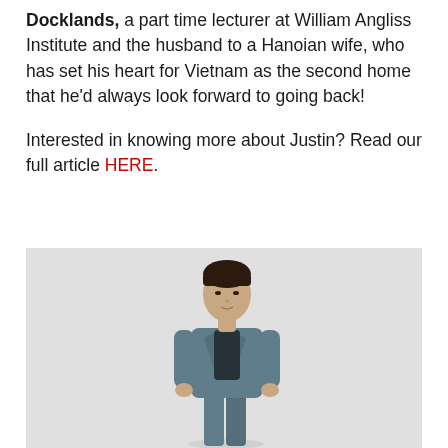Docklands, a part time lecturer at William Angliss Institute and the husband to a Hanoian wife, who has set his heart for Vietnam as the second home that he'd always look forward to going back!
Interested in knowing more about Justin? Read our full article HERE.
[Figure (photo): A young Asian woman with short dark hair standing against a light grey background, wearing a slate blue blazer and matching trousers with a dark navy cowl-neck top underneath.]